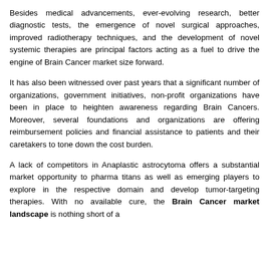Besides medical advancements, ever-evolving research, better diagnostic tests, the emergence of novel surgical approaches, improved radiotherapy techniques, and the development of novel systemic therapies are principal factors acting as a fuel to drive the engine of Brain Cancer market size forward.
It has also been witnessed over past years that a significant number of organizations, government initiatives, non-profit organizations have been in place to heighten awareness regarding Brain Cancers. Moreover, several foundations and organizations are offering reimbursement policies and financial assistance to patients and their caretakers to tone down the cost burden.
A lack of competitors in Anaplastic astrocytoma offers a substantial market opportunity to pharma titans as well as emerging players to explore in the respective domain and develop tumor-targeting therapies. With no available cure, the Brain Cancer market landscape is nothing short of a